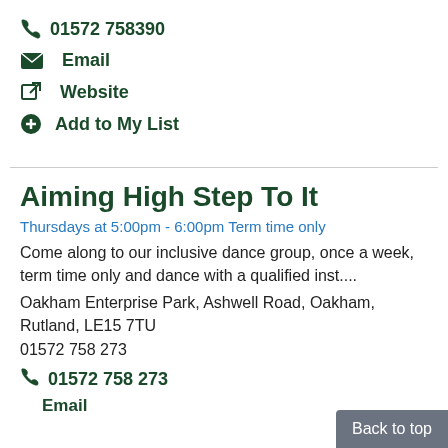📞 01572 758390
✉ Email
↗ Website
+ Add to My List
Aiming High Step To It
Thursdays at 5:00pm - 6:00pm Term time only
Come along to our inclusive dance group, once a week, term time only and dance with a qualified inst....
Oakham Enterprise Park, Ashwell Road, Oakham, Rutland, LE15 7TU
01572 758 273
📞 01572 758 273
Email